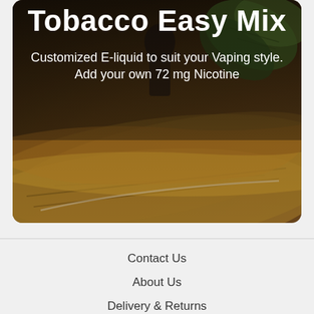[Figure (photo): Hero banner image showing tobacco leaves with a person in the background, overlaid with product title and subtitle text on a dark background with rounded corners]
Tobacco Easy Mix
Customized E-liquid to suit your Vaping style. Add your own 72 mg Nicotine
Contact Us
About Us
Delivery & Returns
Privacy Policy